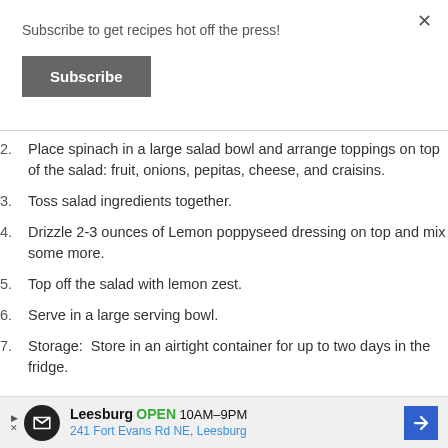Subscribe to get recipes hot off the press!
Subscribe
2. Place spinach in a large salad bowl and arrange toppings on top of the salad: fruit, onions, pepitas, cheese, and craisins.
3. Toss salad ingredients together.
4. Drizzle 2-3 ounces of Lemon poppyseed dressing on top and mix some more.
5. Top off the salad with lemon zest.
6. Serve in a large serving bowl.
7. Storage:  Store in an airtight container for up to two days in the fridge.
Leesburg OPEN 10AM–9PM 241 Fort Evans Rd NE, Leesburg